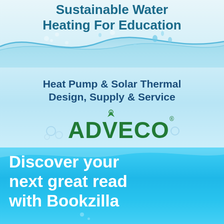[Figure (illustration): Advertisement for ADVECO: 'Sustainable Water Heating For Education' with water ripple background, text 'Heat Pump & Solar Thermal Design, Supply & Service', and ADVECO green logo]
[Figure (illustration): Advertisement with cyan/light blue background: 'Discover your next great read with Bookzilla' in bold white text]